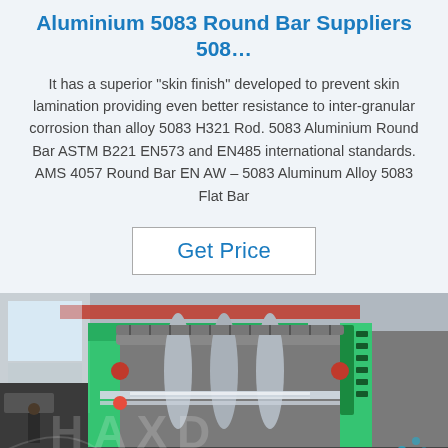Aluminium 5083 Round Bar Suppliers 508…
It has a superior "skin finish" developed to prevent skin lamination providing even better resistance to inter-granular corrosion than alloy 5083 H321 Rod. 5083 Aluminium Round Bar ASTM B221 EN573 and EN485 international standards. AMS 4057 Round Bar EN AW – 5083 Aluminum Alloy 5083 Flat Bar
[Figure (other): Button or link labeled 'Get Price' with border, blue text, on white background]
[Figure (photo): Industrial factory interior showing a large metal processing/rolling machine with green frames, rollers, and metal sheet/foil being processed. Workers visible in background. Watermark text overlaid.]